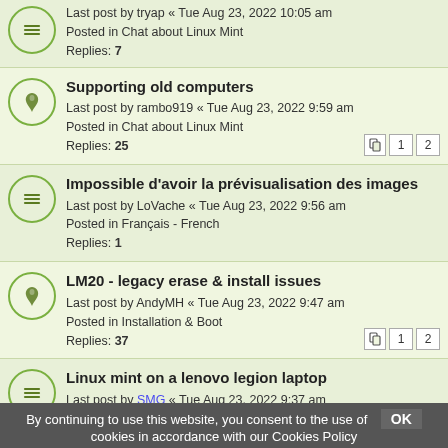Last post by tryap « Tue Aug 23, 2022 10:05 am
Posted in Chat about Linux Mint
Replies: 7
Supporting old computers
Last post by rambo919 « Tue Aug 23, 2022 9:59 am
Posted in Chat about Linux Mint
Replies: 25
Impossible d'avoir la prévisualisation des images
Last post by LoVache « Tue Aug 23, 2022 9:56 am
Posted in Français - French
Replies: 1
LM20 - legacy erase & install issues
Last post by AndyMH « Tue Aug 23, 2022 9:47 am
Posted in Installation & Boot
Replies: 37
Linux mint on a lenovo legion laptop
Last post by SMG « Tue Aug 23, 2022 9:37 am
Posted in Hardware Support
Replies: 5
No screen resolution in "Display-App" after Dist upgrade
Last post by mintyboy « Tue Aug 23, 2022 9:34 am
Posted in Graphics Cards & Monitors
Replies: 3
20.3 to 21 Upgrade Issue
Last post by duggers « Tue Aug 23, 2022 9:34 am
Posted in Software & Applications
Replies: 2
By continuing to use this website, you consent to the use of cookies in accordance with our Cookies Policy